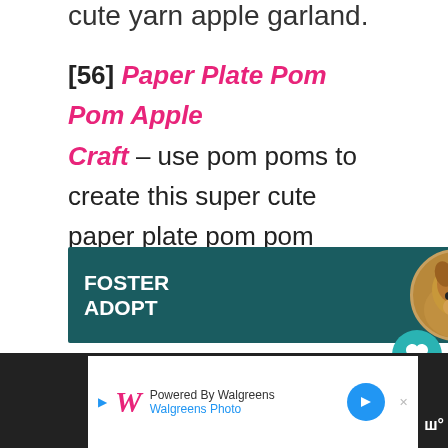cute yarn apple garland.
[56] Paper Plate Pom Pom Apple Craft – use pom poms to create this super cute paper plate pom pom apple craft.
[Figure (photo): Advertisement banner for pet adoption: FOSTER RESCUE ADOPT ADVOCATE with a beagle dog image on teal background]
[Figure (screenshot): Bottom bar with Walgreens advertisement: Powered By Walgreens / Walgreens Photo, with W logo and navigation arrow, and a logo on dark background]